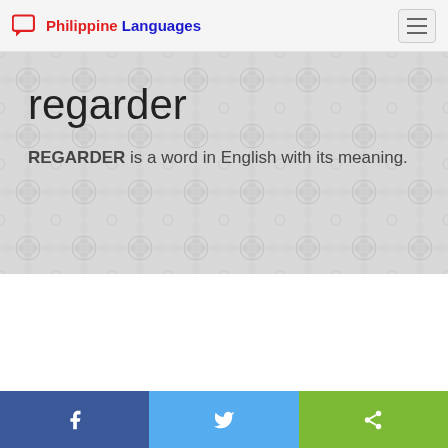Philippine Languages
regarder
REGARDER is a word in English with its meaning.
Share buttons: Facebook, Twitter, Share